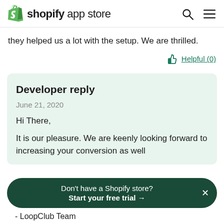shopify app store
they helped us a lot with the setup. We are thrilled.
Helpful (0)
Developer reply
June 21, 2020
Hi There,
It is our pleasure. We are keenly looking forward to increasing your conversion as well
Don't have a Shopify store? Start your free trial →
- LoopClub Team